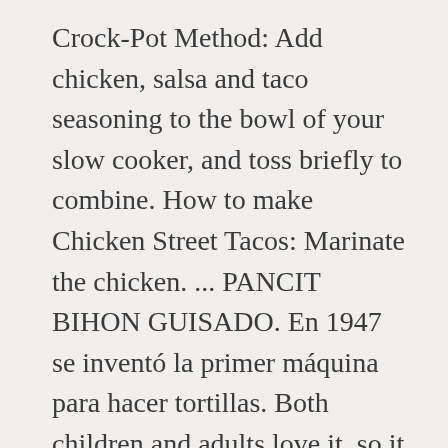Crock-Pot Method: Add chicken, salsa and taco seasoning to the bowl of your slow cooker, and toss briefly to combine. How to make Chicken Street Tacos: Marinate the chicken. ... PANCIT BIHON GUISADO. En 1947 se inventó la primer máquina para hacer tortillas. Both children and adults love it, so it makes a great family meal. In a large pan over medium heat, heat oil. Seasonings. As an added bonus, it doesn't call for a lot of ingredients, so it's doable on a busy weeknight. Two Ground Beef or Pulled Chicken with Lettuce, Tomato and Cheese $8.99 Chicharron Plate. Pollo Guisado Ingredients. Best Tacos in Los Angeles. You can use boneless, skinless chicken, but you'll get much more flavor with bone-in